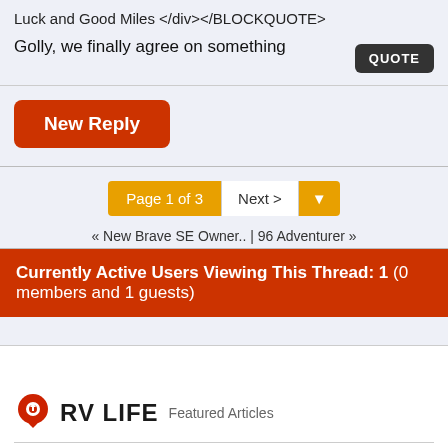Luck and Good Miles </div></BLOCKQUOTE>
Golly, we finally agree on something
QUOTE
New Reply
Page 1 of 3  Next >
« New Brave SE Owner.. | 96 Adventurer »
Currently Active Users Viewing This Thread: 1 (0 members and 1 guests)
[Figure (logo): RV LIFE logo with red map pin icon]
Featured Articles
[Figure (photo): Thumbnail photo of outdoor sky scene]
How To Convert An RV Into A Food Truck